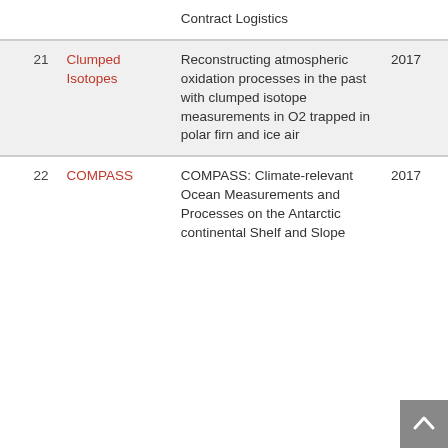| # | Name | Description | Year |
| --- | --- | --- | --- |
|  |  | Contract Logistics |  |
| 21 | Clumped Isotopes | Reconstructing atmospheric oxidation processes in the past with clumped isotope measurements in O2 trapped in polar firn and ice air | 2017 |
| 22 | COMPASS | COMPASS: Climate-relevant Ocean Measurements and Processes on the Antarctic continental Shelf and Slope | 2017 |